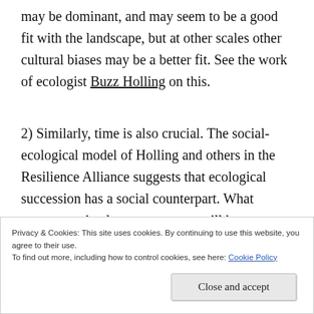may be dominant, and may seem to be a good fit with the landscape, but at other scales other cultural biases may be a better fit. See the work of ecologist Buzz Holling on this.
2) Similarly, time is also crucial. The social-ecological model of Holling and others in the Resilience Alliance suggests that ecological succession has a social counterpart. What appears optimal at one moment will become less optimal as time changes the environment, so that alternative
Privacy & Cookies: This site uses cookies. By continuing to use this website, you agree to their use. To find out more, including how to control cookies, see here: Cookie Policy